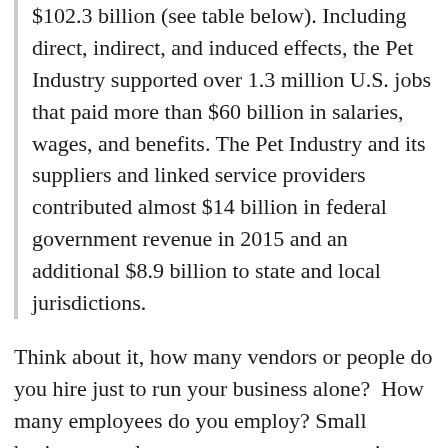$102.3 billion (see table below). Including direct, indirect, and induced effects, the Pet Industry supported over 1.3 million U.S. jobs that paid more than $60 billion in salaries, wages, and benefits. The Pet Industry and its suppliers and linked service providers contributed almost $14 billion in federal government revenue in 2015 and an additional $8.9 billion to state and local jurisdictions.
Think about it, how many vendors or people do you hire just to run your business alone? How many employees do you employ? Small businesses to large corporate pet companies make an impact locally and nationally in the economy:
For example, manufacturers of dog and